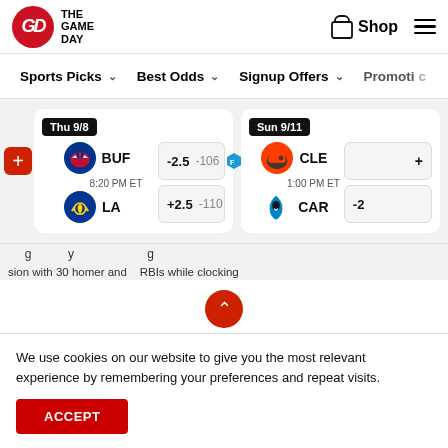The Game Day — Shop | Navigation menu
Sports Picks ∨  Best Odds ∨  Signup Offers ∨  Promotio...
[Figure (infographic): Sports betting matchup cards. Thu 9/8: BUF vs LA — BUF: -2.5 -106 (FanDuel), LA: +2.5 -110 (BetMGM). Sun 9/11: CLE vs CAR — partially visible.]
...g...y...g...sion with 30 homes and...RBls while clocking...
We use cookies on our website to give you the most relevant experience by remembering your preferences and repeat visits.
ACCEPT